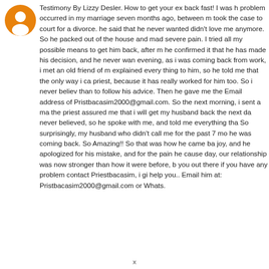[Figure (illustration): Orange circular avatar/profile icon with a white user silhouette]
Testimony By Lizzy Desler. How to get your ex back fast! I was h... problem occurred in my marriage seven months ago, between m... took the case to court for a divorce. he said that he never wanted... didn't love me anymore. So he packed out of the house and mad... severe pain. I tried all my possible means to get him back, after m... he confirmed it that he has made his decision, and he never wan... evening, as i was coming back from work, i met an old friend of m... explained every thing to him, so he told me that the only way i ca... priest, because it has really worked for him too. So i never believ... than to follow his advice. Then he gave me the Email address of... Pristbacasim2000@gmail.com. So the next morning, i sent a ma... the priest assured me that i will get my husband back the next da... never believed, so he spoke with me, and told me everything tha... So surprisingly, my husband who didn't call me for the past 7 mo... he was coming back. So Amazing!! So that was how he came ba... joy, and he apologized for his mistake, and for the pain he cause... day, our relationship was now stronger than how it were before, b... you out there if you have any problem contact Priestbacasim, i gi... help you.. Email him at: Pristbacasim2000@gmail.com or Whats...
x